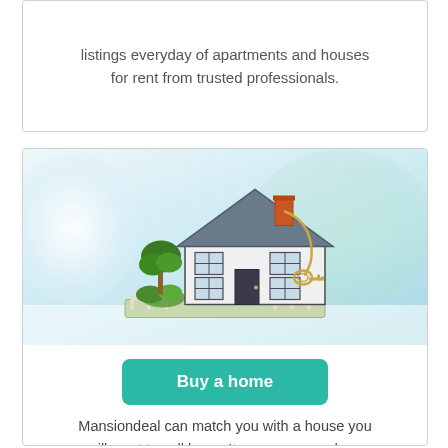listings everyday of apartments and houses for rent from trusted professionals.
[Figure (photo): A miniature model house with a gray roof, white walls, small windows, a door, green bushes and grass base, with a key on a chain resting on top, set against a soft blurred background of white and green tones.]
Buy a home
Mansiondeal can match you with a house you will want to call home.Its very easy and our